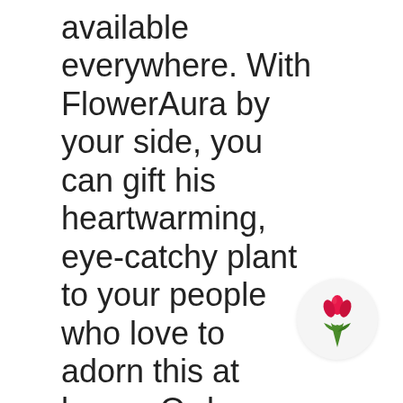available everywhere. With FlowerAura by your side, you can gift his heartwarming, eye-catchy plant to your people who love to adorn this at home. Order today and make your
[Figure (logo): FlowerAura logo: a tulip flower with a green leaf on a light gray circular background]